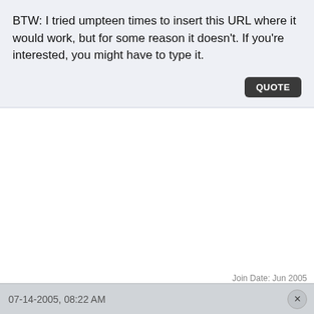BTW: I tried umpteen times to insert this URL where it would work, but for some reason it doesn't. If you're interested, you might have to type it.
07-14-2005, 08:22 AM